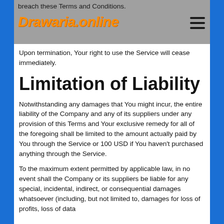breach these Terms and Conditions.
[Figure (logo): Drawaria.online logo in italic orange bold text]
Upon termination, Your right to use the Service will cease immediately.
Limitation of Liability
Notwithstanding any damages that You might incur, the entire liability of the Company and any of its suppliers under any provision of this Terms and Your exclusive remedy for all of the foregoing shall be limited to the amount actually paid by You through the Service or 100 USD if You haven't purchased anything through the Service.
To the maximum extent permitted by applicable law, in no event shall the Company or its suppliers be liable for any special, incidental, indirect, or consequential damages whatsoever (including, but not limited to, damages for loss of profits, loss of data